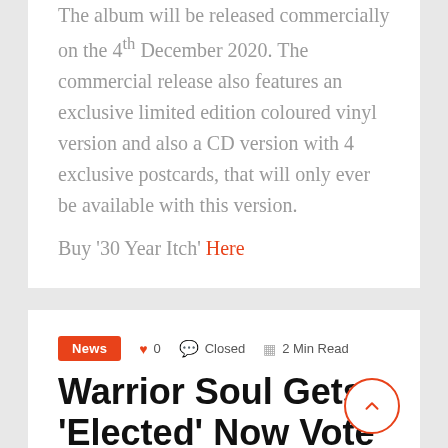The album will be released commercially on the 4th December 2020. The commercial release also features an exclusive limited edition coloured vinyl version and also a CD version with 4 exclusive postcards, that will only ever be available with this version.
Buy '30 Year Itch' Here
News  ♥ 0  Closed  2 Min Read
Warrior Soul Gets 'Elected' Now Vote Him Out!